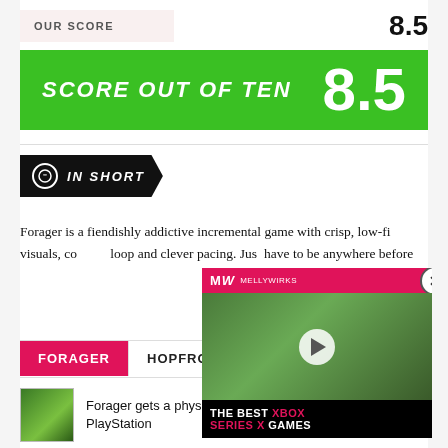OUR SCORE
8.5
[Figure (infographic): Green score banner reading 'SCORE OUT OF TEN' with large '8.5' on the right]
IN SHORT
Forager is a fiendishly addictive incremental game with crisp, low-fi visuals, co... loop and clever pacing. Just... have to be anywhere before...
[Figure (screenshot): Advertisement overlay for 'The Best Xbox Series X Games' from MW (Millworks) showing a car driving scene with a play button]
FORAGER   HOPFROG
Forager gets a physical release for Switch and PlayStation